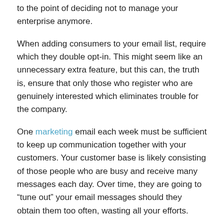to the point of deciding not to manage your enterprise anymore.
When adding consumers to your email list, require which they double opt-in. This might seem like an unnecessary extra feature, but this can, the truth is, ensure that only those who register who are genuinely interested which eliminates trouble for the company.
One marketing email each week must be sufficient to keep up communication together with your customers. Your customer base is likely consisting of those people who are busy and receive many messages each day. Over time, they are going to “tune out” your email messages should they obtain them too often, wasting all your efforts.
Avoid sending major marketing via email messages around